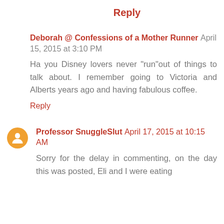Reply
Deborah @ Confessions of a Mother Runner April 15, 2015 at 3:10 PM
Ha you Disney lovers never "run"out of things to talk about. I remember going to Victoria and Alberts years ago and having fabulous coffee.
Reply
Professor SnuggleSlut April 17, 2015 at 10:15 AM
Sorry for the delay in commenting, on the day this was posted, Eli and I were eating